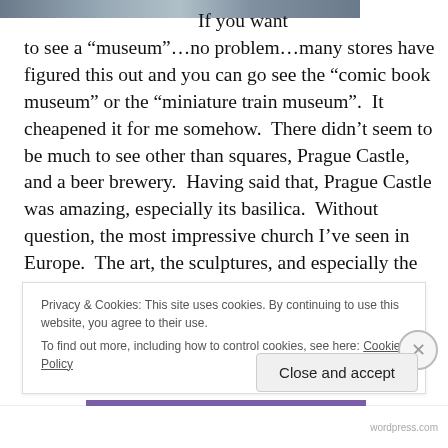[Figure (photo): Partial photo strip at the top of the page showing an outdoor scene]
If you want to see a “museum”…no problem…many stores have figured this out and you can go see the “comic book museum” or the “miniature train museum”.  It cheapened it for me somehow.  There didn’t seem to be much to see other than squares, Prague Castle, and a beer brewery.  Having said that, Prague Castle was amazing, especially its basilica.  Without question, the most impressive church I’ve seen in Europe.  The art, the sculptures, and especially the stained glass
Privacy & Cookies: This site uses cookies. By continuing to use this website, you agree to their use.
To find out more, including how to control cookies, see here: Cookie Policy
Close and accept